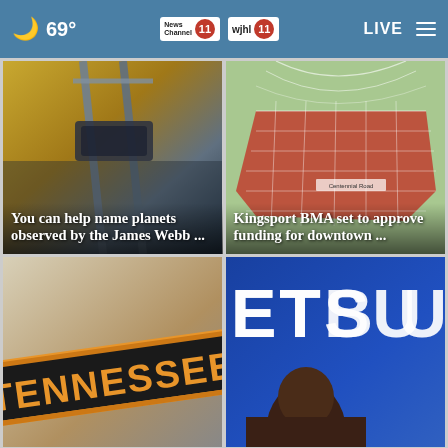69° News Channel 11 wjhl 11 LIVE
[Figure (photo): Close-up photo of metal crutches with dark background]
You can help name planets observed by the James Webb ...
[Figure (map): Aerial satellite map showing streets with large red highlighted area in downtown Kingsport]
Kingsport BMA set to approve funding for downtown ...
[Figure (photo): Close-up of TENNESSEE sign with orange and black colors]
[Figure (photo): ETSU branding banner with a person's head in foreground]